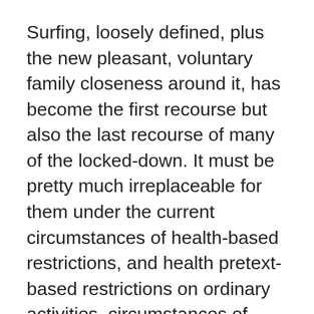Surfing, loosely defined, plus the new pleasant, voluntary family closeness around it, has become the first recourse but also the last recourse of many of the locked-down. It must be pretty much irreplaceable for them under the current circumstances of health-based restrictions, and health pretext-based restrictions on ordinary activities, circumstances of forced idleness and, of unnatural family interaction in a closed space. Surfing is the thin pillar around which some people are building a small, fragile edifice of freedom and joy.
If the local health authorities try – as they